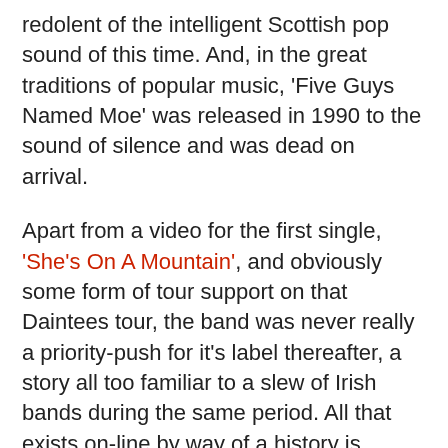redolent of the intelligent Scottish pop sound of this time. And, in the great traditions of popular music, 'Five Guys Named Moe' was released in 1990 to the sound of silence and was dead on arrival.
Apart from a video for the first single, 'She's On A Mountain', and obviously some form of tour support on that Daintees tour, the band was never really a priority-push for it's label thereafter, a story all too familiar to a slew of Irish bands during the same period. All that exists on-line by way of a history is unofficial fan blogs that clips together a series of short personal testimonies from some of the band and that's located at Saltyka and Gamekult
The record itself is eleven songs long and, while